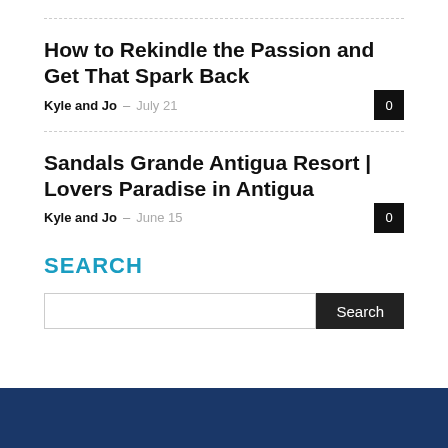How to Rekindle the Passion and Get That Spark Back
Kyle and Jo – July 21 0
Sandals Grande Antigua Resort | Lovers Paradise in Antigua
Kyle and Jo – June 15 0
SEARCH
Search